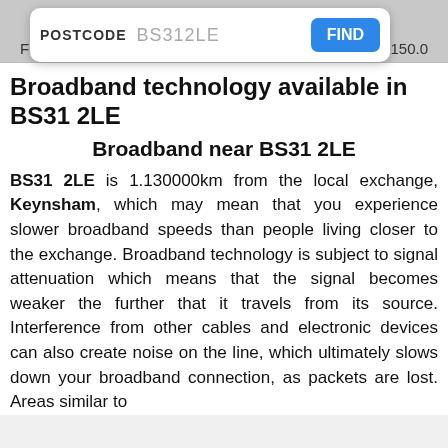[Figure (screenshot): Search bar UI with POSTCODE label, BS312LE value, and a blue FIND button]
Fastest  150.0
Broadband technology available in BS31 2LE
Broadband near BS31 2LE
BS31 2LE is 1.130000km from the local exchange, Keynsham, which may mean that you experience slower broadband speeds than people living closer to the exchange. Broadband technology is subject to signal attenuation which means that the signal becomes weaker the further that it travels from its source. Interference from other cables and electronic devices can also create noise on the line, which ultimately slows down your broadband connection, as packets are lost. Areas similar to